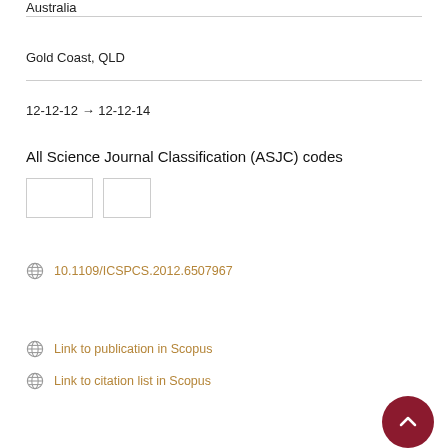Australia
Gold Coast, QLD
12-12-12 → 12-12-14
All Science Journal Classification (ASJC) codes
[Figure (other): Two blank ASJC code boxes]
10.1109/ICSPCS.2012.6507967
Link to publication in Scopus
Link to citation list in Scopus